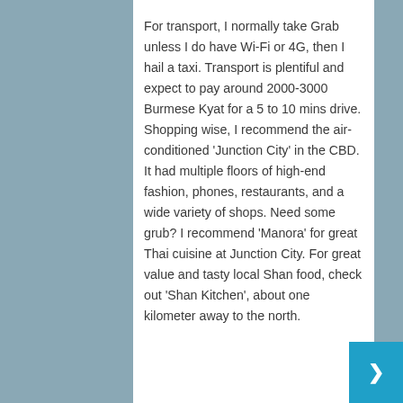For transport, I normally take Grab unless I do have Wi-Fi or 4G, then I hail a taxi. Transport is plentiful and expect to pay around 2000-3000 Burmese Kyat for a 5 to 10 mins drive. Shopping wise, I recommend the air-conditioned 'Junction City' in the CBD. It had multiple floors of high-end fashion, phones, restaurants, and a wide variety of shops. Need some grub? I recommend 'Manora' for great Thai cuisine at Junction City. For great value and tasty local Shan food, check out 'Shan Kitchen', about one kilometer away to the north.